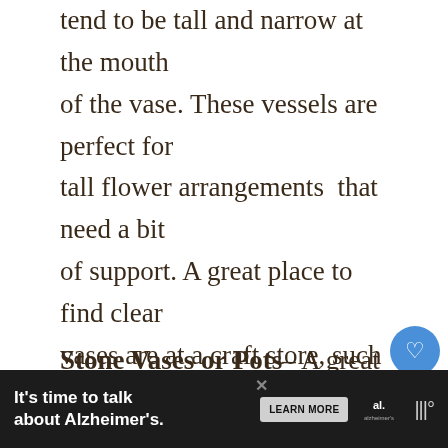tend to be tall and narrow at the mouth of the vase. These vessels are perfect for tall flower arrangements that need a bit of support. A great place to find clear vases are at a craft store, such as Michael's or Hobby Lobby.
Stone Vases or Pots– A great place to find reasonable stone vases for your own arrangement is at Target. I have
[Figure (other): Social media UI overlay: heart/like button (blue circle with heart icon), like count '19', share button (circle with share icon), 'WHAT'S NEXT' panel with thumbnail and text 'The Best Faux Greenery for...']
[Figure (other): Advertisement banner: dark background with text 'It's time to talk about Alzheimer's.' with a 'LEARN MORE' button and Alzheimer's Association logo]